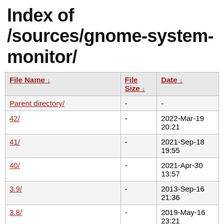Index of /sources/gnome-system-monitor/
| File Name ↓ | File Size ↓ | Date ↓ |
| --- | --- | --- |
| Parent directory/ | - | - |
| 42/ | - | 2022-Mar-19 20:21 |
| 41/ | - | 2021-Sep-18 19:55 |
| 40/ | - | 2021-Apr-30 13:57 |
| 3.9/ | - | 2013-Sep-16 21:36 |
| 3.8/ | - | 2019-May-16 23:21 |
| 3.7/ | - | 2013-Mar-18 21:57 |
| 3.6/ | - | 2012-Oct-15 |